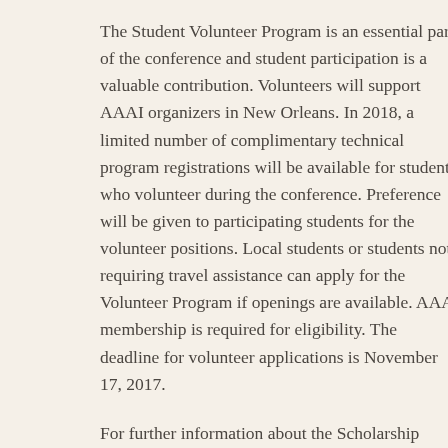The Student Volunteer Program is an essential part of the conference and student participation is a valuable contribution. Volunteers will support AAAI organizers in New Orleans. In 2018, a limited number of complimentary technical program registrations will be available for students who volunteer during the conference. Preference will be given to participating students for the volunteer positions. Local students or students not requiring travel assistance can apply for the Volunteer Program if openings are available. AAAI membership is required for eligibility. The deadline for volunteer applications is November 17, 2017.
For further information about the Scholarship Program or the Volunteer Program, please contact AAAI at volunteer18@aaai.org.